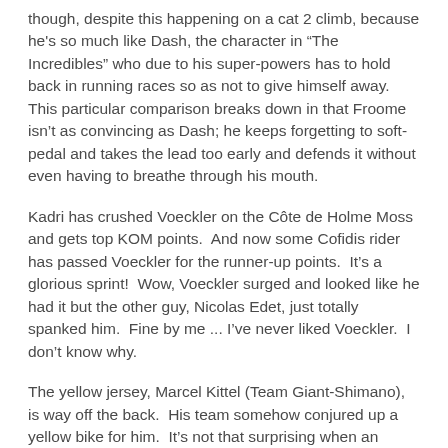though, despite this happening on a cat 2 climb, because he's so much like Dash, the character in “The Incredibles” who due to his super-powers has to hold back in running races so as not to give himself away.  This particular comparison breaks down in that Froome isn’t as convincing as Dash; he keeps forgetting to soft-pedal and takes the lead too early and defends it without even having to breathe through his mouth.
Kadri has crushed Voeckler on the Côte de Holme Moss and gets top KOM points.  And now some Cofidis rider has passed Voeckler for the runner-up points.  It’s a glorious sprint!  Wow, Voeckler surged and looked like he had it but the other guy, Nicolas Edet, just totally spanked him.  Fine by me ... I’ve never liked Voeckler.  I don’t know why.
The yellow jersey, Marcel Kittel (Team Giant-Shimano), is way off the back.  His team somehow conjured up a yellow bike for him.  It’s not that surprising when an obvious GC contender has a yellow bike waiting for him in case he takes the overall lead, but it’s pretty surprising to anticipate, with such confidence, that your best sprinter will prevail in a